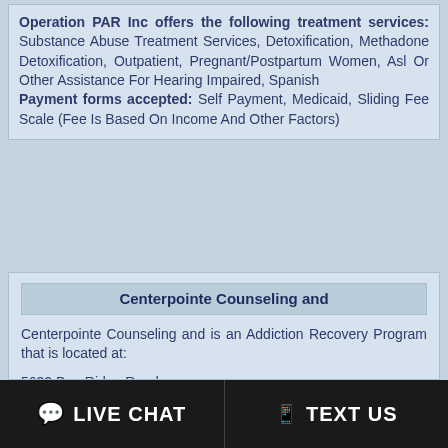Operation PAR Inc offers the following treatment services: Substance Abuse Treatment Services, Detoxification, Methadone Detoxification, Outpatient, Pregnant/Postpartum Women, Asl Or Other Assistance For Hearing Impaired, Spanish
Payment forms accepted: Self Payment, Medicaid, Sliding Fee Scale (Fee Is Based On Income And Other Factors)
Centerpointe Counseling and
Centerpointe Counseling and is an Addiction Recovery Program that is located at:
5632 Bee Ridge Road
Sarasota, FL. 34233
If you would like to contact Centerpointe Counseling and, you can reach them at 941-488-4811.
Centerpointe Counseling and offers the following treatment services: Substance Abuse Treatment Services, Outpatient, Adolescents, Women, Men
Payment forms accepted: Self Payment, Private Health Insurance, Sliding Fee Scale (Fee Is Based On Income And Other Factors)
LIVE CHAT   TEXT US